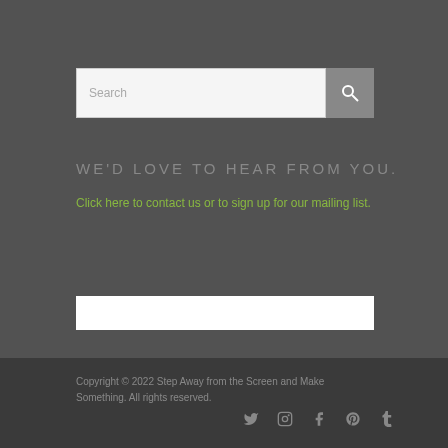[Figure (other): Search bar with text input field reading 'Search' and a grey search button with magnifying glass icon]
WE'D LOVE TO HEAR FROM YOU.
Click here to contact us or to sign up for our mailing list.
[Figure (other): White horizontal bar/rectangle element]
Copyright © 2022 Step Away from the Screen and Make Something. All rights reserved.
[Figure (other): Social media icons: Twitter, Instagram, Facebook, Pinterest, Tumblr]